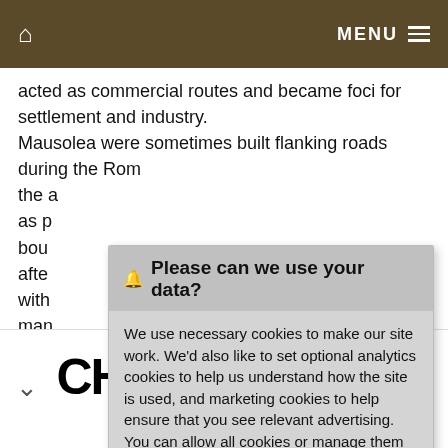🏠  MENU ≡
acted as commercial routes and became foci for settlement and industry.
Mausolea were sometimes built flanking roads during the Rom[an period...] the a[...] as p[...] bou[...] afte[...] with[...] man[...] cont[...] cons[...] mod[...]
On t[...]
🔔 Please can we use your data?

We use necessary cookies to make our site work. We'd also like to set optional analytics cookies to help us understand how the site is used, and marketing cookies to help ensure that you see relevant advertising. You can allow all cookies or manage them individually. More information

[Accept Cookies] [Customise Cookies]
[Figure (screenshot): CheapBooks.com advertisement banner with text 'SAVE MONEY ON TEXTBOOKS.' and logo 'CHEAPBOOKS.COM']